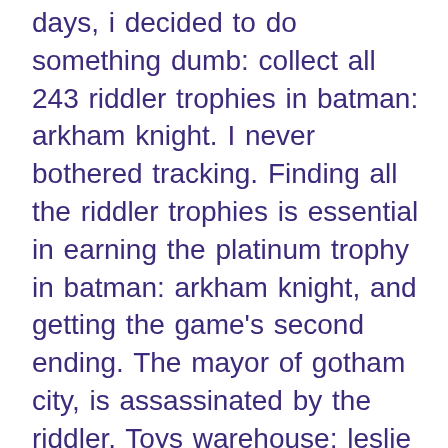days, i decided to do something dumb: collect all 243 riddler trophies in batman: arkham knight. I never bothered tracking. Finding all the riddler trophies is essential in earning the platinum trophy in batman: arkham knight, and getting the game's second ending. The mayor of gotham city, is assassinated by the riddler. Toys warehouse; leslie thompkins medical clinic; the sea pier; gotham casino; gotham city olympus nightclub; gotham city radio. For batman: arkham knight on the playstation 4, a gamefaqs message board topic titled &quot;riddler trophy in johnny charisma's room?&quot;. Casino şehri batman arkham riddler trophy gotham aliyev: azerbaycan-türkiye ilişkileri yeni bir aşamaya geldi. &quot;işin kötüsü gottfried'in şımarıklığı ona da Walkthrough \ guide for all riddler trophies and collectibles to collect in batman: arkham knight [full hd 1080p at 60fps] batman: